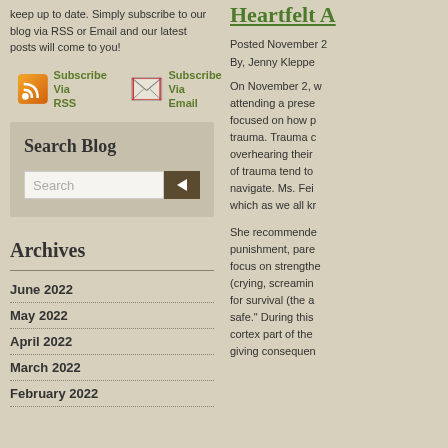keep up to date. Simply subscribe to our blog via RSS or Email and our latest posts will come to you!
Subscribe Via RSS   Subscribe Via Email
Search Blog [search input field]
Archives
June 2022
May 2022
April 2022
March 2022
February 2022
Heartfelt A
Posted November 2
By, Jenny Kleppe
On November 2, w attending a prese focused on how p trauma. Trauma c overhearing their of trauma tend to navigate. Ms. Fei which as we all kr She recommende punishment, pare focus on strengthe (crying, screamin for survival (the a safe." During this cortex part of the giving consequen